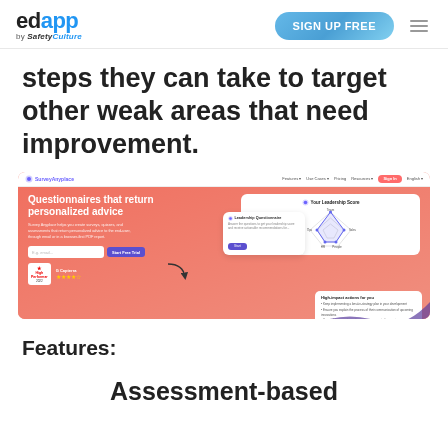edapp by SafetyCulture | SIGN UP FREE
steps they can take to target other weak areas that need improvement.
[Figure (screenshot): Screenshot of SurveyAnyplace website showing 'Questionnaires that return personalized advice' with email input, Start Free Trial button, G2 and Capterra badges, and a leadership score card with radar chart and high-impact actions panel.]
Features:
Assessment-based